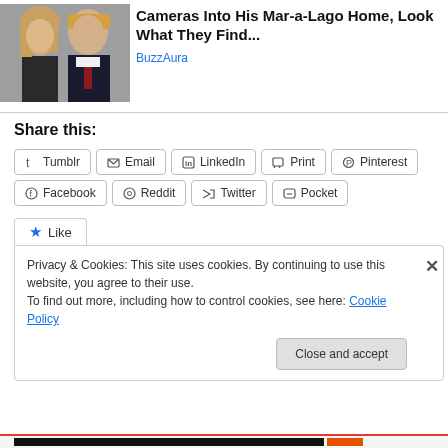[Figure (photo): Photo of a woman and a man (Melania and Donald Trump) in formal attire]
[Pics] Donald Trump Let Cameras Into His Mar-a-Lago Home, Look What They Find...
BuzzAura
Share this:
Tumblr  Email  LinkedIn  Print  Pinterest  Facebook  Reddit  Twitter  Pocket
Like
Privacy & Cookies: This site uses cookies. By continuing to use this website, you agree to their use.
To find out more, including how to control cookies, see here: Cookie Policy
Close and accept